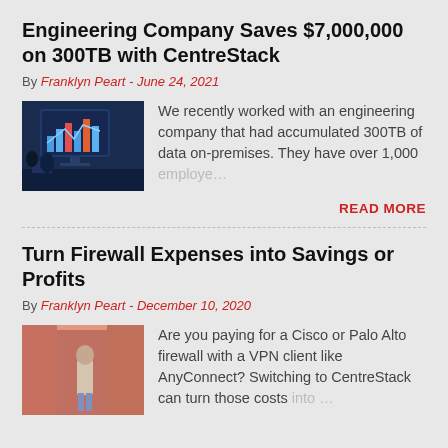Engineering Company Saves $7,000,000 on 300TB with CentreStack
By Franklyn Peart - June 24, 2021
[Figure (photo): Two people looking at a large monitor displaying data charts in an office setting]
We recently worked with an engineering company that had accumulated 300TB of data on-premises. They have over 1,000 employe…
READ MORE
Turn Firewall Expenses into Savings or Profits
By Franklyn Peart - December 10, 2020
[Figure (photo): Person standing in a doorway with a salmon/terracotta colored wall]
Are you paying for a Cisco or Palo Alto firewall with a VPN client like AnyConnect? Switching to CentreStack can turn those costs into…